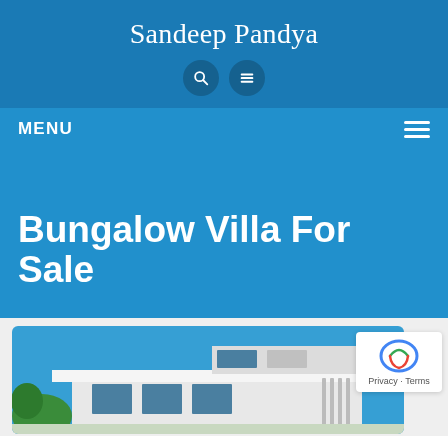Sandeep Pandya
Bungalow Villa For Sale
[Figure (screenshot): Screenshot of a real estate website (Sandeep Pandya) showing a page titled 'Bungalow Villa For Sale' with a blue header, navigation menu bar, hero section with title text, and a partial photograph of a modern bungalow villa building at the bottom.]